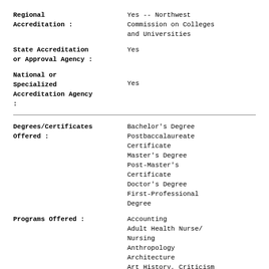Regional Accreditation : Yes -- Northwest Commission on Colleges and Universities
State Accreditation or Approval Agency : Yes
National or Specialized Accreditation Agency : Yes
Degrees/Certificates Offered : Bachelor's Degree Postbaccalaureate Certificate Master's Degree Post-Master's Certificate Doctor's Degree First-Professional Degree
Programs Offered : Accounting Adult Health Nurse/ Nursing Anthropology Architecture Art History, Criticism and Conservation